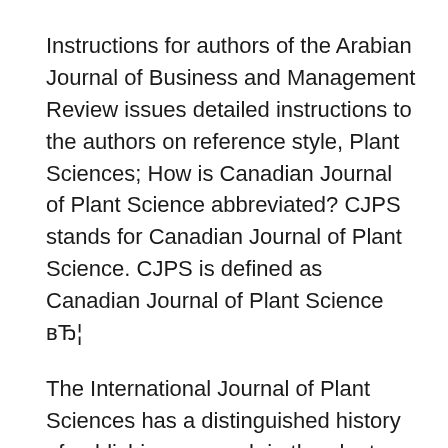Instructions for authors of the Arabian Journal of Business and Management Review issues detailed instructions to the authors on reference style, Plant Sciences; How is Canadian Journal of Plant Science abbreviated? CJPS stands for Canadian Journal of Plant Science. CJPS is defined as Canadian Journal of Plant Science вЂ¦
The International Journal of Plant Sciences has a distinguished history of publishing research in the plant sciences since 1875. Journal of Dairy Science; Guide for authors; These instructions detail the form and style required by the Journal of Plant and Animal Health Inspection
Canadian journal of plant science off. journal of